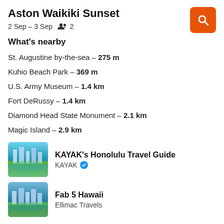Aston Waikiki Sunset
2 Sep – 3 Sep   👥 2
What's nearby
St. Augustine by-the-sea – 275 m
Kuhio Beach Park – 369 m
U.S. Army Museum – 1.4 km
Fort DeRussy – 1.4 km
Diamond Head State Monument – 2.1 km
Magic Island – 2.9 km
[Figure (photo): Thumbnail photo of Honolulu beach and cityscape for KAYAK's Honolulu Travel Guide]
KAYAK's Honolulu Travel Guide
KAYAK ✓
[Figure (photo): Thumbnail photo of Hawaii beach and cityscape for Fab 5 Hawaii]
Fab 5 Hawaii
Ellimac Travels